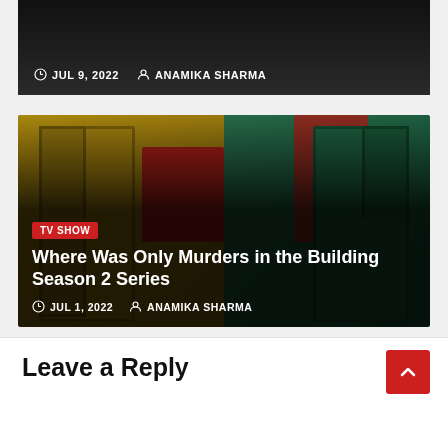[Figure (photo): Top dark image strip showing partial article with metadata: JUL 9, 2022 by ANAMIKA SHARMA]
JUL 9, 2022   ANAMIKA SHARMA
[Figure (photo): Featured article card with colorful doors background and two people standing. TV SHOW badge. Title: Where Was Only Murders in the Building Season 2 Series. Date JUL 1, 2022 by ANAMIKA SHARMA]
Where Was Only Murders in the Building Season 2 Series
JUL 1, 2022   ANAMIKA SHARMA
Leave a Reply